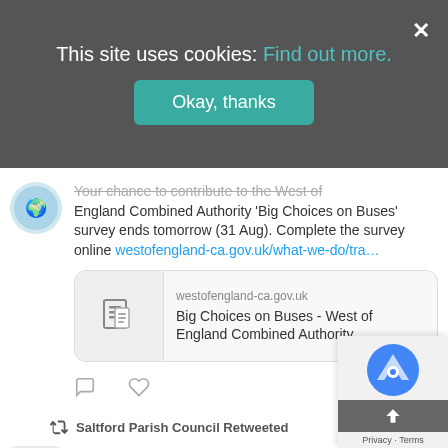This site uses cookies: Find out more. Okay, thanks
Your chance to contribute to the West of England Combined Authority 'Big Choices on Buses' survey ends tomorrow (31 Aug). Complete the survey online westofengland-ca.gov.uk/what-we-do/tra...
[Figure (screenshot): Link preview card for westofengland-ca.gov.uk showing 'Big Choices on Buses - West of England Combined Authority']
Saltford Parish Council Retweeted
B&NES Council @bathnes · Aug 29 You can report a problem in your area with My Street: fix.bathnes.gov.uk. We've fixed more than 1,000 issues in the past...